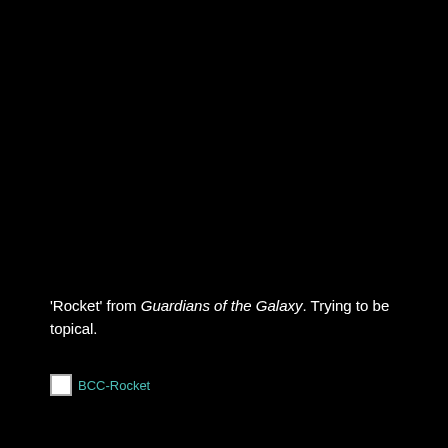'Rocket' from Guardians of the Galaxy. Trying to be topical.
[Figure (photo): BCC-Rocket image placeholder (broken image icon with label 'BCC-Rocket')]